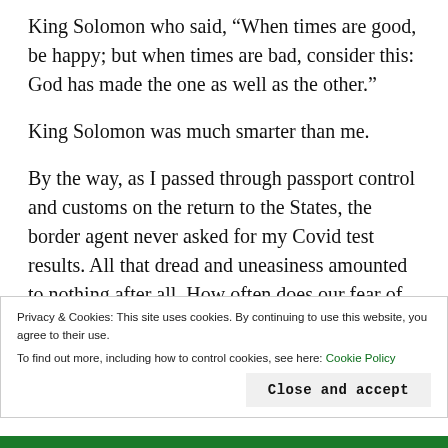King Solomon who said, “When times are good, be happy; but when times are bad, consider this: God has made the one as well as the other.”
King Solomon was much smarter than me.
By the way, as I passed through passport control and customs on the return to the States, the border agent never asked for my Covid test results. All that dread and uneasiness amounted to nothing after all. How often does our fear of the future ruin our enjoyment of the precious present? If I’m honest with myself, it’s happened way too often in
Privacy & Cookies: This site uses cookies. By continuing to use this website, you agree to their use.
To find out more, including how to control cookies, see here: Cookie Policy
Close and accept